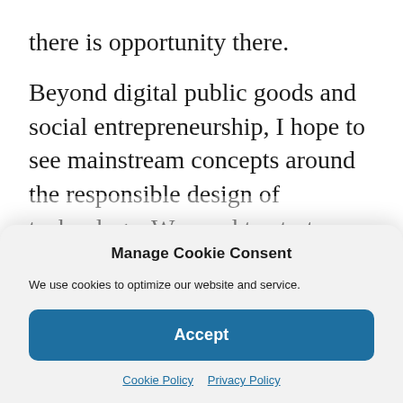there is opportunity there.
Beyond digital public goods and social entrepreneurship, I hope to see mainstream concepts around the responsible design of technology. We need to start asking upfront what we won't do. Not just that, but also anticipate potential governance and regulatory pathways, especially for newer
Manage Cookie Consent
We use cookies to optimize our website and service.
Accept
Cookie Policy   Privacy Policy